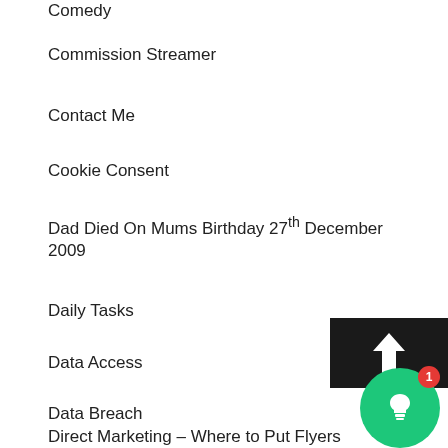Comedy
Commission Streamer
Contact Me
Cookie Consent
Dad Died On Mums Birthday 27th December 2009
Daily Tasks
Data Access
Data Breach
Data Rectification
Direct Marketing – Where to Put Flyers